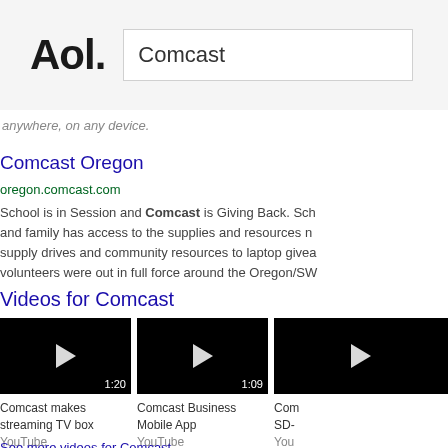AOL. | Comcast
anywhere, on any device.
Comcast Oregon
oregon.comcast.com
School is in Session and Comcast is Giving Back. School and family has access to the supplies and resources n supply drives and community resources to laptop givea volunteers were out in full force around the Oregon/SW
Videos for Comcast
[Figure (screenshot): Video thumbnail 1: black background with play button, duration 1:20. Caption: Comcast makes streaming TV box. Source: YouTube]
[Figure (screenshot): Video thumbnail 2: black background with play button, duration 1:09. Caption: Comcast Business Mobile App. Source: YouTube]
[Figure (screenshot): Video thumbnail 3 (partial): black background. Caption: Com SD-. Source: You]
See more videos for Comcast